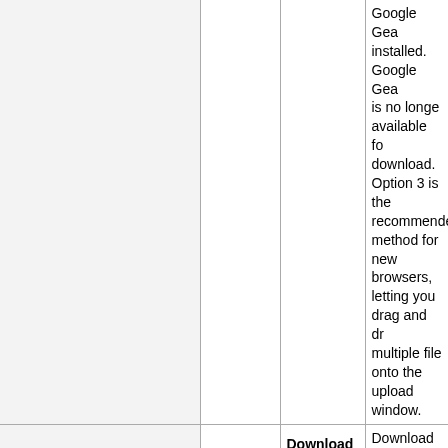|  |  |  |  |
| --- | --- | --- | --- |
|  |  |  | Google Gears installed. Google Gears is no longer available for download. Option 3 is the recommended method for new browsers, letting you drag and drop multiple files onto the upload window. |
|  | Download icon | Download | Download the selected files to your computer. The download... |